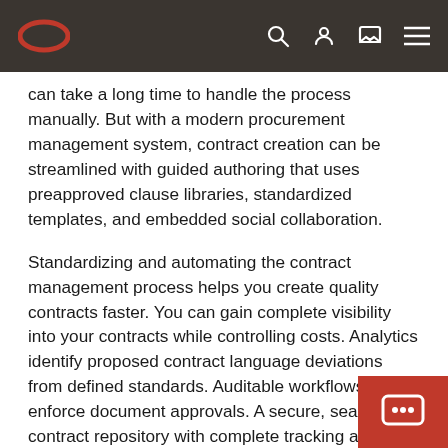Oracle navigation bar with logo and icons
can take a long time to handle the process manually. But with a modern procurement management system, contract creation can be streamlined with guided authoring that uses preapproved clause libraries, standardized templates, and embedded social collaboration.
Standardizing and automating the contract management process helps you create quality contracts faster. You can gain complete visibility into your contracts while controlling costs. Analytics identify proposed contract language deviations from defined standards. Auditable workflows enforce document approvals. A secure, searchable contract repository with complete tracking and audit history enables users to quickly locate what they need. Automated renewal management capabilities procurement teams early notification of expiring contracts so they can proactively take necessary ac and avoid potential risk.